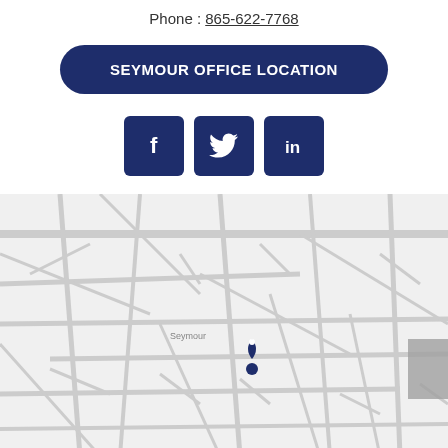Phone : 865-622-7768
SEYMOUR OFFICE LOCATION
[Figure (other): Social media icons: Facebook, Twitter, LinkedIn — navy blue square buttons]
[Figure (map): Street map showing Seymour office location with a pin marker, light grey road network on white background]